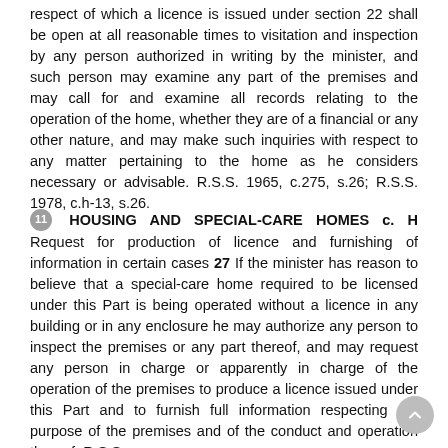respect of which a licence is issued under section 22 shall be open at all reasonable times to visitation and inspection by any person authorized in writing by the minister, and such person may examine any part of the premises and may call for and examine all records relating to the operation of the home, whether they are of a financial or any other nature, and may make such inquiries with respect to any matter pertaining to the home as he considers necessary or advisable. R.S.S. 1965, c.275, s.26; R.S.S. 1978, c.h-13, s.26.
11 HOUSING AND SPECIAL-CARE HOMES c. H Request for production of licence and furnishing of information in certain cases 27 If the minister has reason to believe that a special-care home required to be licensed under this Part is being operated without a licence in any building or in any enclosure he may authorize any person to inspect the premises or any part thereof, and may request any person in charge or apparently in charge of the operation of the premises to produce a licence issued under this Part and to furnish full information respecting the purpose of the premises and of the conduct and operation thereof. R.S.S.